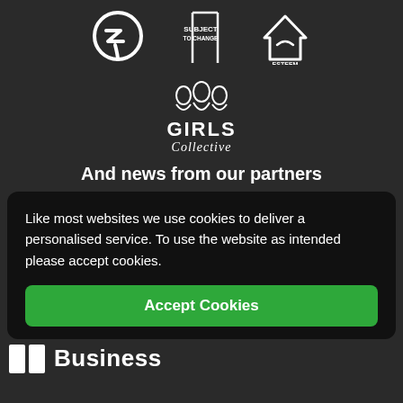[Figure (logo): Three partner logos in a row: GZ circular logo, Subject To Change logo, and Esteem house logo]
[Figure (logo): Girls Collective logo with illustrated figures and stylized text]
And news from our partners
Like most websites we use cookies to deliver a personalised service. To use the website as intended please accept cookies.
Accept Cookies
[Figure (logo): Business logo partially visible at bottom]